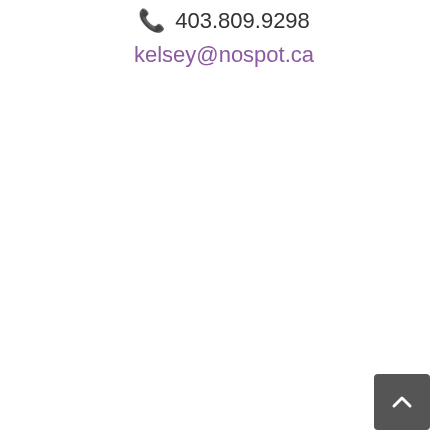📞 403.809.9298
kelsey@nospot.ca
[Figure (other): Dark grey rounded square button with a white upward-pointing chevron arrow (back-to-top button), positioned in the bottom-right corner]